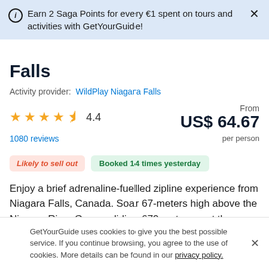Earn 2 Saga Points for every €1 spent on tours and activities with GetYourGuide!
Falls
Activity provider: WildPlay Niagara Falls
★★★★½ 4.4
1080 reviews
From US$ 64.67 per person
Likely to sell out   Booked 14 times yesterday
Enjoy a brief adrenaline-fuelled zipline experience from Niagara Falls, Canada. Soar 67-meters high above the Niagara River Gorge, gliding 670 meters past the American
GetYourGuide uses cookies to give you the best possible service. If you continue browsing, you agree to the use of cookies. More details can be found in our privacy policy.